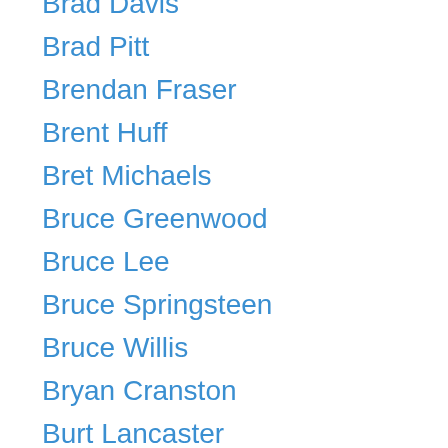Brad Davis
Brad Pitt
Brendan Fraser
Brent Huff
Bret Michaels
Bruce Greenwood
Bruce Lee
Bruce Springsteen
Bruce Willis
Bryan Cranston
Burt Lancaster
Burt Reynolds
Buster Crabbe
C.Thomas Howell
Cary Grant
Cameron Diaz